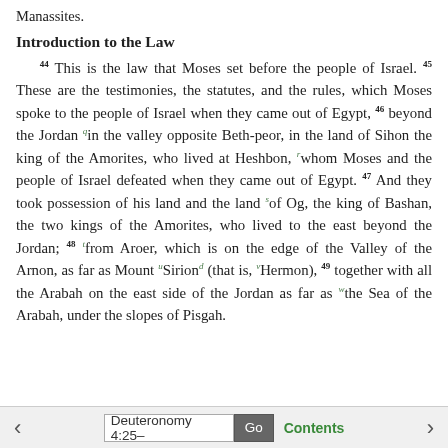Manassites.
Introduction to the Law
44 This is the law that Moses set before the people of Israel. 45 These are the testimonies, the statutes, and the rules, which Moses spoke to the people of Israel when they came out of Egypt, 46 beyond the Jordan qin the valley opposite Beth-peor, in the land of Sihon the king of the Amorites, who lived at Heshbon, rwhom Moses and the people of Israel defeated when they came out of Egypt. 47 And they took possession of his land and the land sof Og, the king of Bashan, the two kings of the Amorites, who lived to the east beyond the Jordan; 48 tfrom Aroer, which is on the edge of the Valley of the Arnon, as far as Mount uSiriond (that is, vHermon), 49 together with all the Arabah on the east side of the Jordan as far as wthe Sea of the Arabah, under the slopes of Pisgah.
Deuteronomy 4:25–  Go  Contents